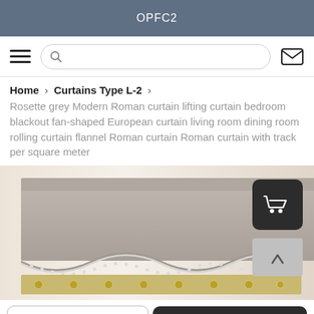OPFC2
Home > Curtains Type L-2 >
Rosette grey Modern Roman curtain lifting curtain bedroom blackout fan-shaped European curtain living room dining room rolling curtain flannel Roman curtain Roman curtain with track per square meter
[Figure (photo): Close-up photo of a grey fan-shaped Roman curtain valance with decorative beaded trim and gold studs at the bottom edge, against a light background.]
add to cart
purchase